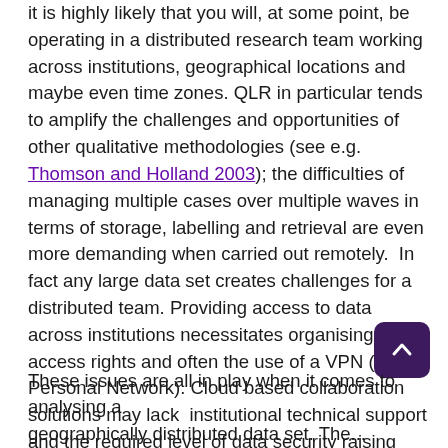it is highly likely that you will, at some point, be operating in a distributed research team working across institutions, geographical locations and maybe even time zones. QLR in particular tends to amplify the challenges and opportunities of other qualitative methodologies (see e.g. Thomson and Holland 2003); the difficulties of managing multiple cases over multiple waves in terms of storage, labelling and retrieval are even more demanding when carried out remotely.  In fact any large data set creates challenges for a distributed team. Providing access to data across institutions necessitates organising access rights and often the use of a VPN (Virtual Personal Network). Cloud based collaboration solutions may lack  institutional technical support and the required level of data security raising legal and ethical problems for the storage of non-anonymised transcripts, observation notes and other documents.
These issues are all in play when it comes to analysing a geographically distributed data set. The...